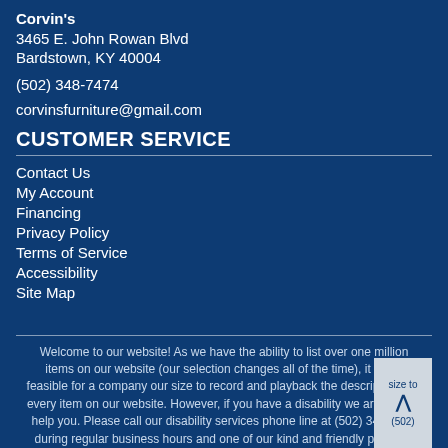Corvin's
3465 E. John Rowan Blvd
Bardstown, KY 40004
(502) 348-7474
corvinsfurniture@gmail.com
CUSTOMER SERVICE
Contact Us
My Account
Financing
Privacy Policy
Terms of Service
Accessibility
Site Map
Welcome to our website! As we have the ability to list over one million items on our website (our selection changes all of the time), it is not feasible for a company our size to record and playback the descriptions on every item on our website. However, if you have a disability we are here to help you. Please call our disability services phone line at (502) 348-7474 during regular business hours and one of our kind and friendly personal